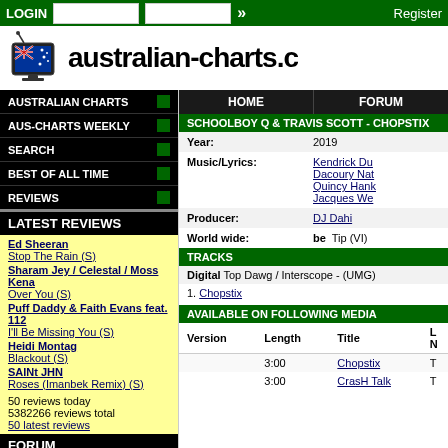LOGIN | Register
[Figure (logo): Australian charts logo with Australian flag TV]
australian-charts.c
AUSTRALIAN CHARTS
AUS-CHARTS WEEKLY
SEARCH
BEST OF ALL TIME
REVIEWS
LATEST REVIEWS
Ed Sheeran
Stop The Rain (S)
Sharam Jey / Celestal / Moss Kena
Over You (S)
Puff Daddy & Faith Evans feat. 112
I'll Be Missing You (S)
Heidi Montag
Blackout (S)
SAINt JHN
Roses (Imanbek Remix) (S)
50 reviews today
5382266 reviews total
50 latest reviews
FORUM
Longest chart runs in the Australian...
[Special Occasion Charts]
Irelander's Personal ARIA Chart - 2022
[Your Charts]
HOME | FORUM
SCHOOLBOY Q & TRAVIS SCOTT - CHOPSTIX
| Field | Value |
| --- | --- |
| Year: | 2019 |
| Music/Lyrics: | Kendrick Du
Dacoury Nat
Quincy Hank
Jacques We |
| Producer: | DJ Dahi |
| World wide: | be  Tip (VI) |
TRACKS
Digital Top Dawg / Interscope - (UMG)
1. Chopstix
AVAILABLE ON FOLLOWING MEDIA
| Version | Length | Title | L N |
| --- | --- | --- | --- |
|  | 3:00 | Chopstix | T |
|  | 3:00 | CrasH Talk | T |